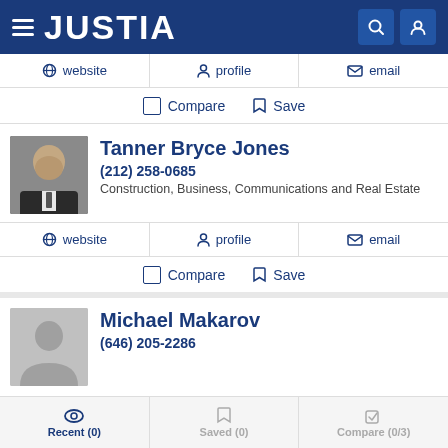[Figure (screenshot): Justia website header with logo and navigation icons]
JUSTIA
website  profile  email
Compare  Save
Tanner Bryce Jones
(212) 258-0685
Construction, Business, Communications and Real Estate
website  profile  email
Compare  Save
Michael Makarov
(646) 205-2286
Recent (0)  Saved (0)  Compare (0/3)